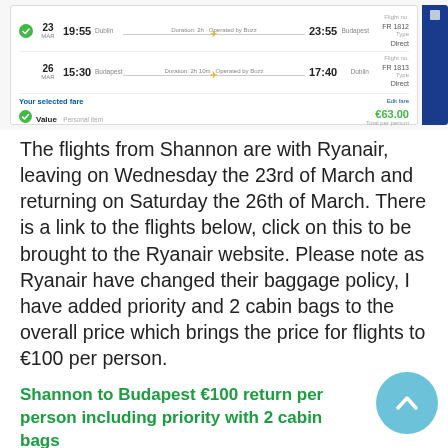[Figure (screenshot): Screenshot of Ryanair flight booking page showing two flights: 23 MAR departing 19:55, arriving 23:55, and 26 MAR departing 15:30, arriving 17:40. Selected fare: Value €63.00 total per person.]
The flights from Shannon are with Ryanair, leaving on Wednesday the 23rd of March and returning on Saturday the 26th of March. There is a link to the flights below, click on this to be brought to the Ryanair website. Please note as Ryanair have changed their baggage policy, I have added priority and 2 cabin bags to the overall price which brings the price for flights to €100 per person.
Shannon to Budapest €100 return per person including priority with 2 cabin bags